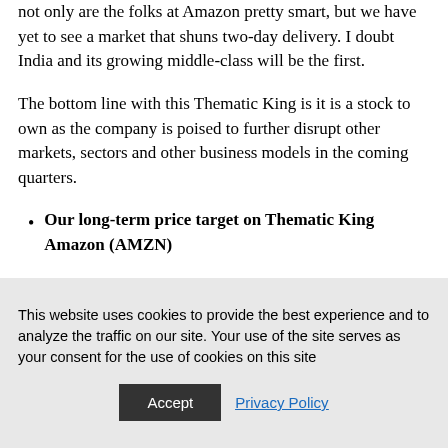not only are the folks at Amazon pretty smart, but we have yet to see a market that shuns two-day delivery. I doubt India and its growing middle-class will be the first.
The bottom line with this Thematic King is it is a stock to own as the company is poised to further disrupt other markets, sectors and other business models in the coming quarters.
Our long-term price target on Thematic King Amazon (AMZN)
This website uses cookies to provide the best experience and to analyze the traffic on our site. Your use of the site serves as your consent for the use of cookies on this site
Accept   Privacy Policy